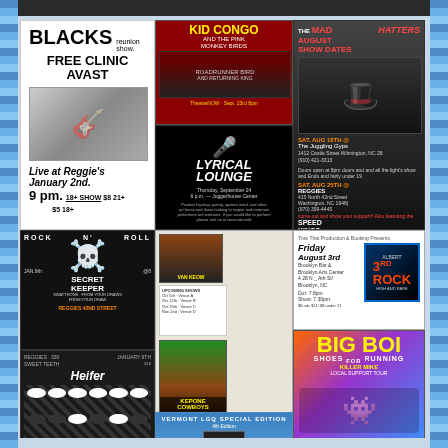[Figure (infographic): Collection of music/event flyers including: BLACKS reunion show / FREE CLINIC / AVAST at Reggie's Jan 2nd 9pm; KID CONGO AND THE PINK MONKEY BIRDS at TheatreNOW Sept 23rd 8pm; The Mad Hatters August Show Dates Sat Aug 18th at The Juggling Gyps, Sat Aug 25th at Reggies; Lyrical Lounge Thursday September 24 6pm; Rock N Roll Jan 9th Secret Keeper at Reggies 42nd Street; Kepone Cowboys / Future / Burliques concert posters; Albert 3rd Rock Friday August 3rd Brooklyn Bar; Big Boi Shoes For Running Killer Mike Sunday June 9; Heifer flyer; Vermont LGQ Special Edition flyer]